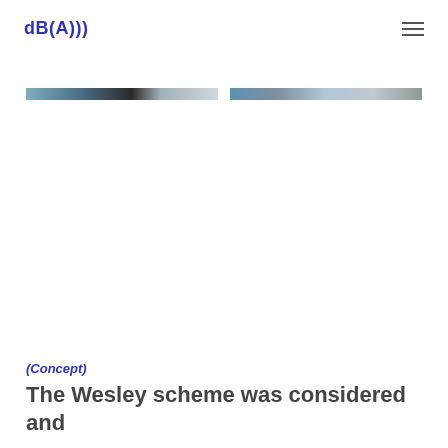dB(A)))
[Figure (photo): Two cropped horizontal photo strips showing partial images, separated by a gap, running across the width of the page.]
(Concept)
The Wesley scheme was considered and